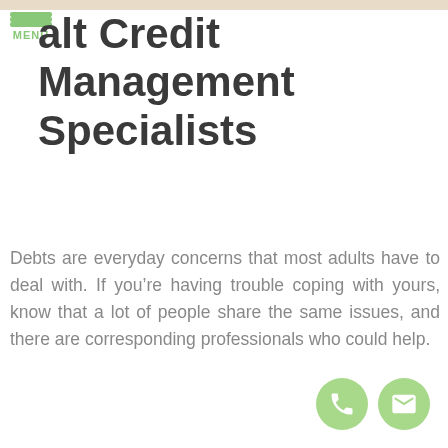MENU
alt Credit Management Specialists
Debts are everyday concerns that most adults have to deal with. If you're having trouble coping with yours, know that a lot of people share the same issues, and there are corresponding professionals who could help.
[Figure (illustration): Phone icon in green circle and email envelope icon in green circle]